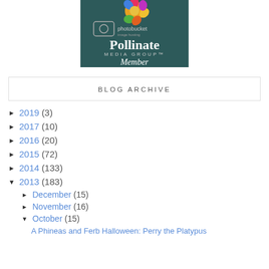[Figure (logo): Pollinate Media Group Member badge with Photobucket hosting logo and colorful flower graphic on dark teal background]
BLOG ARCHIVE
► 2019 (3)
► 2017 (10)
► 2016 (20)
► 2015 (72)
► 2014 (133)
▼ 2013 (183)
► December (15)
► November (16)
▼ October (15)
A Phineas and Ferb Halloween: Perry the Platypus